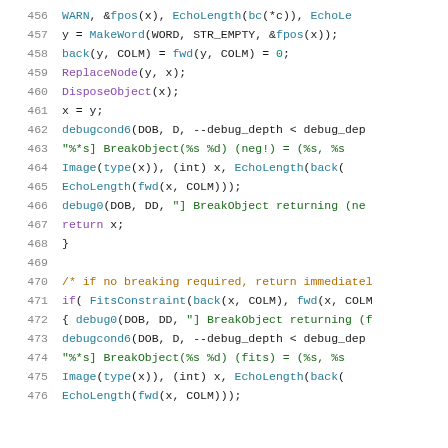Source code listing lines 456-476 showing C/C++ code with syntax highlighting
456: WARN, &fpos(x), EchoLength(bc(*c)), EchoLe
457: y = MakeWord(WORD, STR_EMPTY, &fpos(x));
458: back(y, COLM) = fwd(y, COLM) = 0;
459: ReplaceNode(y, x);
460: DisposeObject(x);
461: x = y;
462: debugcond6(DOB, D, --debug_depth < debug_dep
463: "%*s] BreakObject(%s %d) (neg!) = (%s, %s
464: Image(type(x)), (int) x, EchoLength(back(
465: EchoLength(fwd(x, COLM)));
466: debug0(DOB, DD, "] BreakObject returning (ne
467: return x;
468: }
469: (blank)
470: /* if no breaking required, return immediatel
471: if( FitsConstraint(back(x, COLM), fwd(x, COLM
472: { debug0(DOB, DD, "] BreakObject returning (f
473: debugcond6(DOB, D, --debug_depth < debug_dep
474: "%*s] BreakObject(%s %d) (fits) = (%s, %s
475: Image(type(x)), (int) x, EchoLength(back(
476: EchoLength(fwd(x, COLM)));